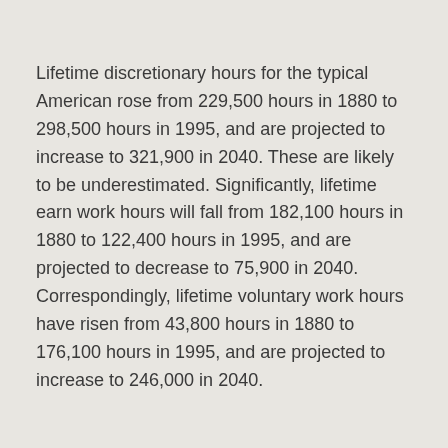Lifetime discretionary hours for the typical American rose from 229,500 hours in 1880 to 298,500 hours in 1995, and are projected to increase to 321,900 in 2040. These are likely to be underestimated. Significantly, lifetime earn work hours will fall from 182,100 hours in 1880 to 122,400 hours in 1995, and are projected to decrease to 75,900 in 2040. Correspondingly, lifetime voluntary work hours have risen from 43,800 hours in 1880 to 176,100 hours in 1995, and are projected to increase to 246,000 in 2040.
In future, then, the average person will be spending only one-fourth of their discretionary time in making